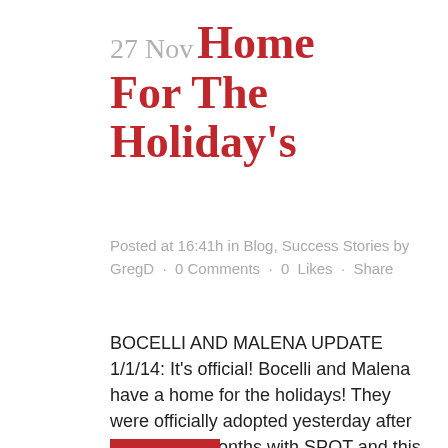27 Nov Home For The Holiday's
Posted at 16:41h in Blog, Success Stories by GregD · 0 Comments · 0 Likes · Share
BOCELLI AND MALENA UPDATE 1/1/14: It's official! Bocelli and Malena have a home for the holidays! They were officially adopted yesterday after spending 4 months with SPOT and this looks like the perfect home for them with new mom, Kristine! Stay tuned for updates and...